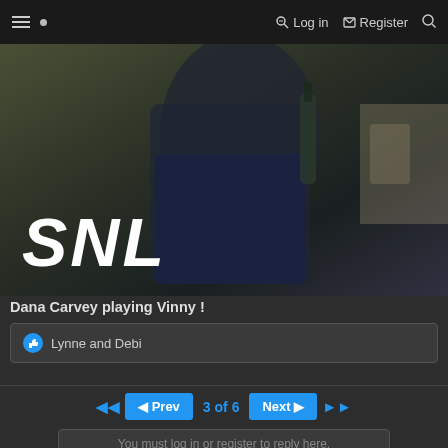≡ • Log in Register 🔍
[Figure (screenshot): SNL video thumbnail showing a person in a Los Angeles Police uniform holding a bottle, in a diner setting. Large white bold italic 'SNL' text overlay in bottom left.]
Dana Carvey playing Vinny !
👍 Lynne and Debi
◀◀  ◀ Prev  3 of 6  Next ▶  ▶▶
You must log in or register to reply here.
Share: f reddit pinterest whatsapp mail link